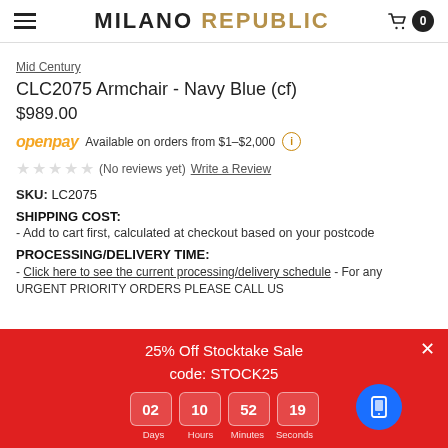MILANO REPUBLIC
Mid Century
CLC2075 Armchair - Navy Blue (cf)
$989.00
openpay Available on orders from $1–$2,000
(No reviews yet) Write a Review
SKU: LC2075
SHIPPING COST:
- Add to cart first, calculated at checkout based on your postcode
PROCESSING/DELIVERY TIME:
- Click here to see the current processing/delivery schedule - For any URGENT PRIORITY ORDERS PLEASE CALL US
25% Off Stocktake Sale
code: STOCK25
02 Days 10 Hours 52 Minutes 19 Seconds